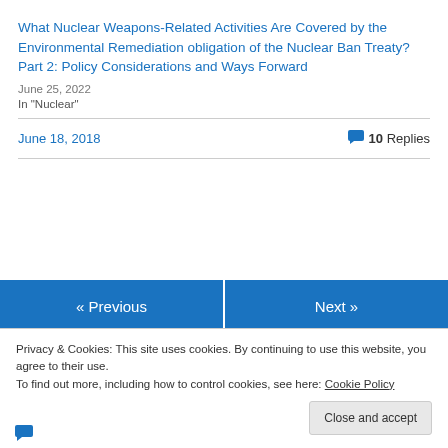What Nuclear Weapons-Related Activities Are Covered by the Environmental Remediation obligation of the Nuclear Ban Treaty? Part 2: Policy Considerations and Ways Forward
June 25, 2022
In "Nuclear"
June 18, 2018    💬 10 Replies
« Previous
Next »
Privacy & Cookies: This site uses cookies. By continuing to use this website, you agree to their use.
To find out more, including how to control cookies, see here: Cookie Policy
Close and accept